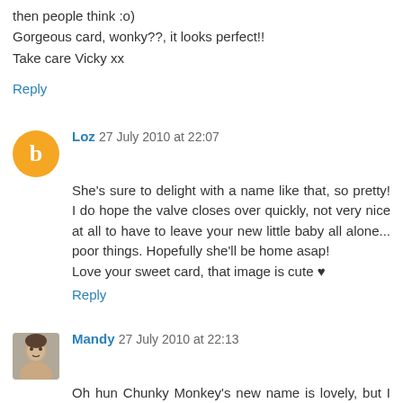then people think :o)
Gorgeous card, wonky??, it looks perfect!!
Take care Vicky xx
Reply
Loz 27 July 2010 at 22:07
She's sure to delight with a name like that, so pretty! I do hope the valve closes over quickly, not very nice at all to have to leave your new little baby all alone... poor things. Hopefully she'll be home asap!
Love your sweet card, that image is cute ♥
Reply
Mandy 27 July 2010 at 22:13
Oh hun Chunky Monkey's new name is lovely, but I think she will always be Chunky Monkey in blog land lol. My heart goes out to you all, & I hope the valve closes soon without the need for surgery.
Bear Jan & Sam I have never known any hospital not let at